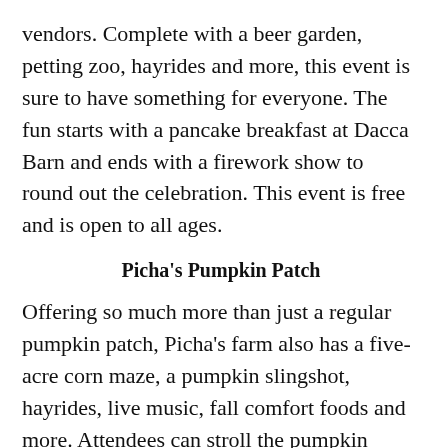vendors. Complete with a beer garden, petting zoo, hayrides and more, this event is sure to have something for everyone. The fun starts with a pancake breakfast at Dacca Barn and ends with a firework show to round out the celebration. This event is free and is open to all ages.
Picha's Pumpkin Patch
Offering so much more than just a regular pumpkin patch, Picha's farm also has a five-acre corn maze, a pumpkin slingshot, hayrides, live music, fall comfort foods and more. Attendees can stroll the pumpkin patch sipping a hot apple cider or eating a gourmet hotdog from local vendors. Admission is free and the farm is also dog-friendly if you want to bring your furry friend alo…